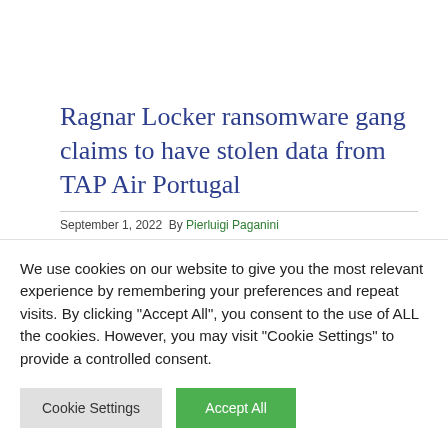Ragnar Locker ransomware gang claims to have stolen data from TAP Air Portugal
September 1, 2022 By Pierluigi Paganini
We use cookies on our website to give you the most relevant experience by remembering your preferences and repeat visits. By clicking "Accept All", you consent to the use of ALL the cookies. However, you may visit "Cookie Settings" to provide a controlled consent.